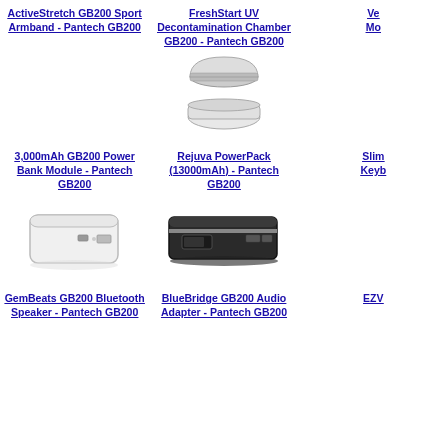ActiveStretch GB200 Sport Armband - Pantech GB200
FreshStart UV Decontamination Chamber GB200 - Pantech GB200
Ve... Mo...
[Figure (photo): FreshStart UV Decontamination Chamber device - white clamshell case open and closed]
3,000mAh GB200 Power Bank Module - Pantech GB200
Rejuva PowerPack (13000mAh) - Pantech GB200
Slim... Keyb...
[Figure (photo): 3,000mAh GB200 Power Bank Module - white rectangular device with USB ports]
[Figure (photo): Rejuva PowerPack 13000mAh - black rectangular battery pack]
GemBeats GB200 Bluetooth Speaker - Pantech GB200
BlueBridge GB200 Audio Adapter - Pantech GB200
EZV...